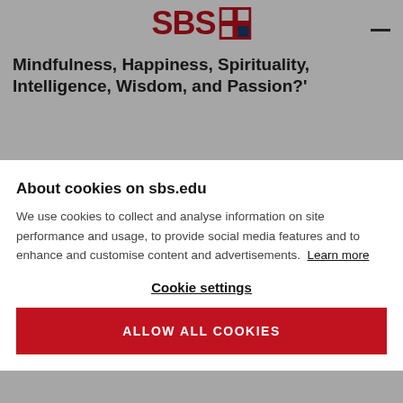[Figure (logo): SBS Swiss Business School logo with red text and red/blue grid icon]
Mindfulness, Happiness, Spirituality, Intelligence, Wisdom, and Passion?'
The seminar aims are:
To provide a forum for doctoral...
About cookies on sbs.edu
We use cookies to collect and analyse information on site performance and usage, to provide social media features and to enhance and customise content and advertisements. Learn more
Cookie settings
ALLOW ALL COOKIES